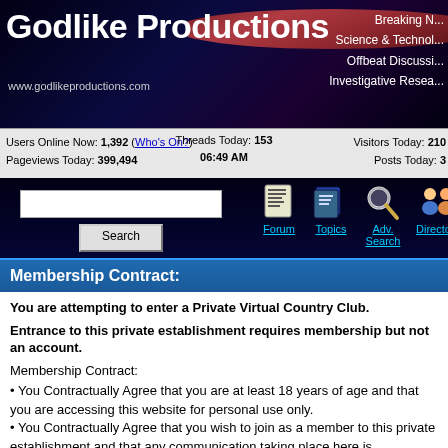Godlike Productions
www.godlikeproductions.com
Breaking N... Science & Technol... Offbeat Discussi... Investigative Resea...
Users Online Now: 1,392 (Who's On?) Visitors Today: 210
Pageviews Today: 399,494   Threads Today: 153   Posts Today: 3
06:49 AM
[Figure (screenshot): Search box with text input and Search button, plus navigation icons for Forum, Topics, Adv. Search, Directory]
Membership Contract:
You are attempting to enter a Private Virtual Country Club.
Entrance to this private establishment requires membership but not an account.
Membership Contract:
You Contractually Agree that you are at least 18 years of age and that you are accessing this website for personal use only.
You Contractually Agree that you wish to join as a member to this private establishment and that any communication taking place here is considered private communication between members which you agree not to publicly disclose or disseminate.
You are responsible for all activity that occurs under your IP Address and using this website including any such conduct...